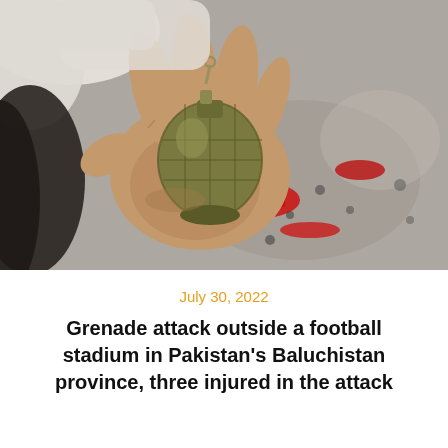[Figure (photo): A hand holding a grenade, with a blurred background showing red debris and a concrete surface.]
July 30, 2022
Grenade attack outside a football stadium in Pakistan's Baluchistan province, three injured in the attack